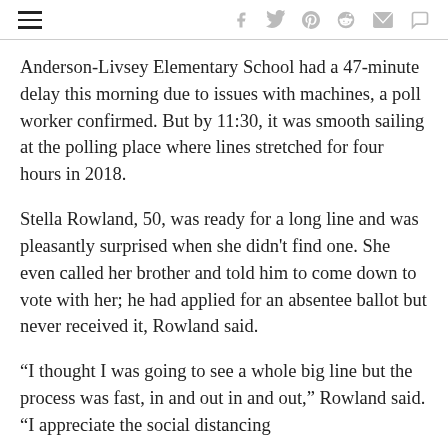[Navigation menu icon] [Social share icons: facebook, twitter, pinterest, reddit, mail, comment]
Anderson-Livsey Elementary School had a 47-minute delay this morning due to issues with machines, a poll worker confirmed. But by 11:30, it was smooth sailing at the polling place where lines stretched for four hours in 2018.
Stella Rowland, 50, was ready for a long line and was pleasantly surprised when she didn't find one. She even called her brother and told him to come down to vote with her; he had applied for an absentee ballot but never received it, Rowland said.
“I thought I was going to see a whole big line but the process was fast, in and out in and out,” Rowland said. “I appreciate the social distancing